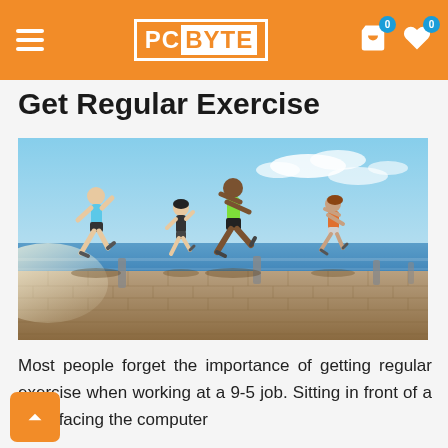PC BYTE
Get Regular Exercise
[Figure (photo): Four people running along a seaside promenade with brick pavement under a bright blue sky.]
Most people forget the importance of getting regular exercise when working at a 9-5 job. Sitting in front of a desk facing the computer